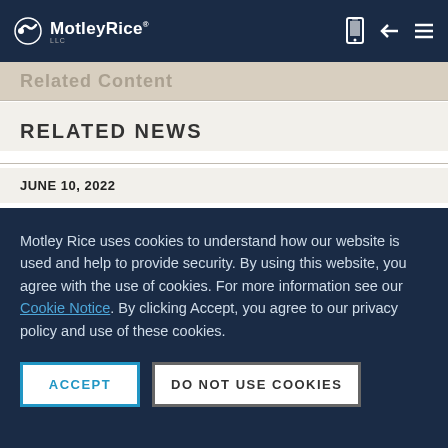[Figure (logo): Motley Rice LLC logo with swoosh icon and white text on dark navy navigation bar]
Related Content
RELATED NEWS
JUNE 10, 2022
Motley Rice uses cookies to understand how our website is used and help to provide security. By using this website, you agree with the use of cookies. For more information see our Cookie Notice. By clicking Accept, you agree to our privacy policy and use of these cookies.